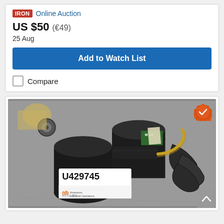[Figure (logo): IRON logo in red box followed by 'Online Auction' text in blue]
US $50 (€49)
25 Aug
Add to Watch List
Compare
[Figure (photo): Industrial submersible pump or auger motor labeled U429745, lying on concrete floor. Black cylindrical body with spiral/auger attachment and label showing 'nb' logo and contact number 800.211.3567]